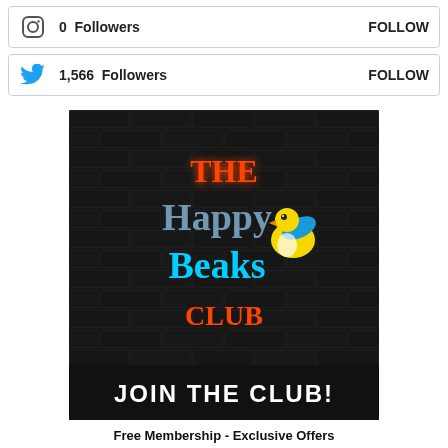0  Followers  FOLLOW
1,566  Followers  FOLLOW
[Figure (illustration): The Happy Beaks Club advertisement image — dark brick wall background with neon-style text reading 'THE Happy Beaks CLUB' with a cartoon bird, and bold text 'JOIN THE CLUB!' at the bottom]
Free Membership - Exclusive Offers